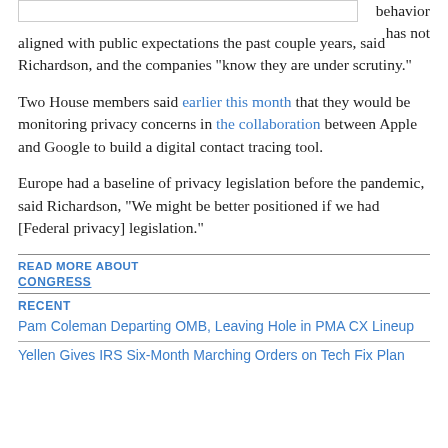[Figure (other): Partial image/graphic at top of page (stub visible)]
behavior has not aligned with public expectations the past couple years, said Richardson, and the companies “know they are under scrutiny.”
Two House members said earlier this month that they would be monitoring privacy concerns in the collaboration between Apple and Google to build a digital contact tracing tool.
Europe had a baseline of privacy legislation before the pandemic, said Richardson, “We might be better positioned if we had [Federal privacy] legislation.”
READ MORE ABOUT
CONGRESS
RECENT
Pam Coleman Departing OMB, Leaving Hole in PMA CX Lineup
Yellen Gives IRS Six-Month Marching Orders on Tech Fix Plan